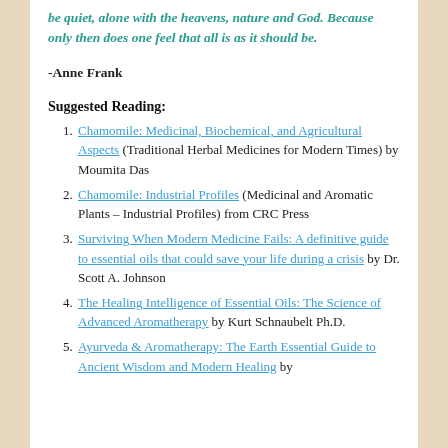be quiet, alone with the heavens, nature and God. Because only then does one feel that all is as it should be.
-Anne Frank
Suggested Reading:
Chamomile: Medicinal, Biochemical, and Agricultural Aspects (Traditional Herbal Medicines for Modern Times) by Moumita Das
Chamomile: Industrial Profiles (Medicinal and Aromatic Plants – Industrial Profiles) from CRC Press
Surviving When Modern Medicine Fails: A definitive guide to essential oils that could save your life during a crisis by Dr. Scott A. Johnson
The Healing Intelligence of Essential Oils: The Science of Advanced Aromatherapy by Kurt Schnaubelt Ph.D.
Ayurveda & Aromatherapy: The Earth Essential Guide to Ancient Wisdom and Modern Healing by